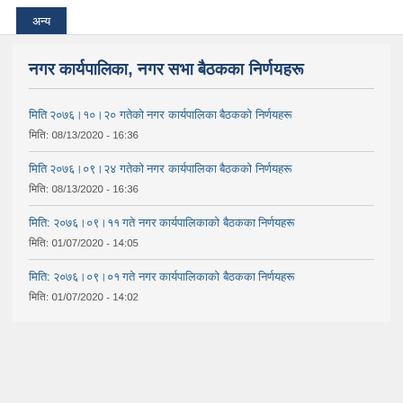अन्य
नगर कार्यपालिका, नगर सभा बैठकका निर्णयहरू
मिति २०७६।१०।२० गतेको नगर कार्यपालिका बैठकको निर्णयहरू
मिति: 08/13/2020 - 16:36
मिति २०७६।०९।२४ गतेको नगर कार्यपालिका बैठकको निर्णयहरू
मिति: 08/13/2020 - 16:36
मिति: २०७६।०९।११ गते नगर कार्यपालिकाको बैठकका निर्णयहरू
मिति: 01/07/2020 - 14:05
मिति: २०७६।०९।०१ गते नगर कार्यपालिकाको बैठकका निर्णयहरू
मिति: 01/07/2020 - 14:02